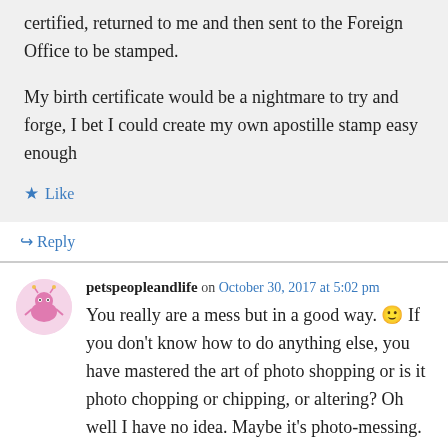certified, returned to me and then sent to the Foreign Office to be stamped.

My birth certificate would be a nightmare to try and forge, I bet I could create my own apostille stamp easy enough
★ Like
↳ Reply
petspeopleandlife on October 30, 2017 at 5:02 pm
You really are a mess but in a good way. 🙂 If you don't know how to do anything else, you have mastered the art of photo shopping or is it photo chopping or chipping, or altering? Oh well I have no idea. Maybe it's photo-messing.